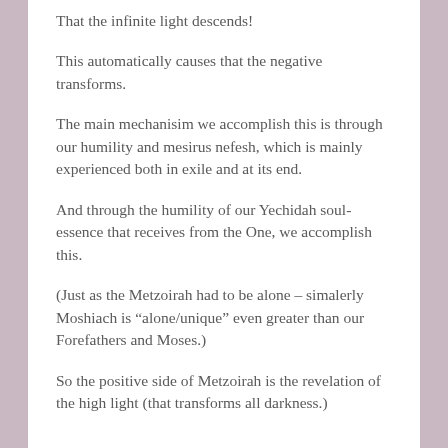That the infinite light descends!
This automatically causes that the negative transforms.
The main mechanisim we accomplish this is through our humility and mesirus nefesh, which is mainly experienced both in exile and at its end.
And through the humility of our Yechidah soul-essence that receives from the One, we accomplish this.
(Just as the Metzoirah had to be alone – simalerly Moshiach is “alone/unique” even greater than our Forefathers and Moses.)
So the positive side of Metzoirah is the revelation of the high light (that transforms all darkness.)